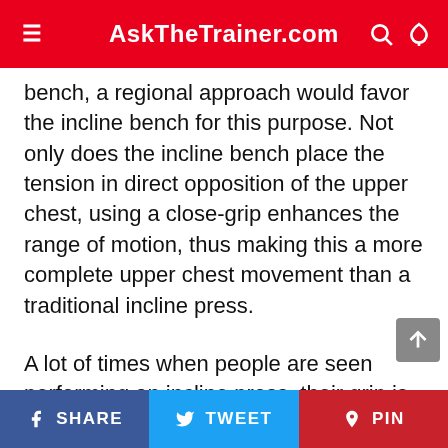AskTheTrainer.com
bench, a regional approach would favor the incline bench for this purpose. Not only does the incline bench place the tension in direct opposition of the upper chest, using a close-grip enhances the range of motion, thus making this a more complete upper chest movement than a traditional incline press.
A lot of times when people are seen performing an incline press, their grip is generally wider than shoulder width – most likely because this is the grip they use for the bench press, and a wider grip facilitates a greater stretch of the pecs (the sternal head, NOT clavicular head). However, because of the